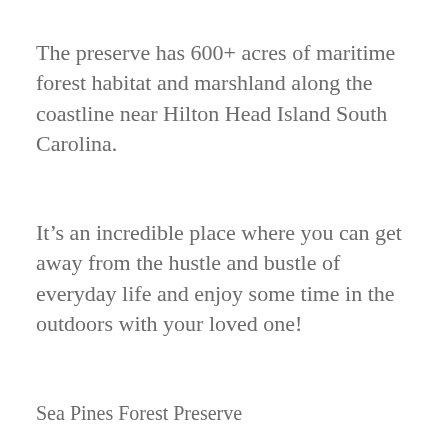The preserve has 600+ acres of maritime forest habitat and marshland along the coastline near Hilton Head Island South Carolina.
It’s an incredible place where you can get away from the hustle and bustle of everyday life and enjoy some time in the outdoors with your loved one!
Sea Pines Forest Preserve